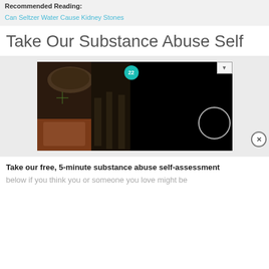Recommended Reading:
Can Seltzer Water Cause Kidney Stones
Take Our Substance Abuse Self
[Figure (screenshot): Advertisement screenshot showing '37 ITEMS LOVE TO PU ON AMA' with a badge showing '22', food/ingredient imagery on left, a black panel with a loading circle on the right, and a close button.]
Take our free, 5-minute substance abuse self-assessment
below if you think you or someone you love might be